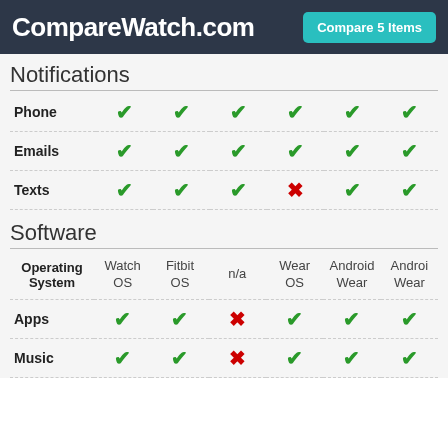CompareWatch.com — Compare 5 Items
Notifications
|  | 1 | 2 | 3 | 4 | 5 | 6 |
| --- | --- | --- | --- | --- | --- | --- |
| Phone | ✓ | ✓ | ✓ | ✓ | ✓ | ✓ |
| Emails | ✓ | ✓ | ✓ | ✓ | ✓ | ✓ |
| Texts | ✓ | ✓ | ✓ | ✗ | ✓ | ✓ |
Software
|  | 1 | 2 | 3 | 4 | 5 | 6 |
| --- | --- | --- | --- | --- | --- | --- |
| Operating System | Watch OS | Fitbit OS | n/a | Wear OS | Android Wear | Android Wear |
| Apps | ✓ | ✓ | ✗ | ✓ | ✓ | ✓ |
| Music | ✓ | ✓ | ✗ | ✓ | ✓ | ✓ |